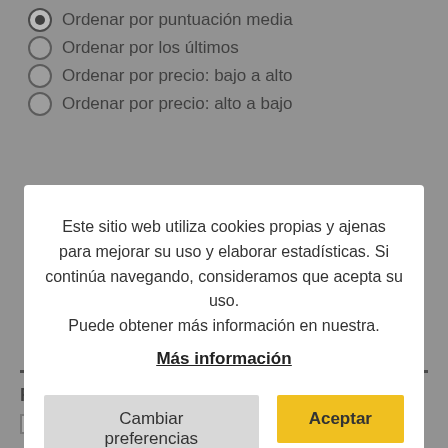Ordenar por puntuación media
Ordenar por los últimos
Ordenar por precio: bajo a alto
Ordenar por precio: alto a bajo
Este sitio web utiliza cookies propias y ajenas para mejorar su uso y elaborar estadísticas. Si continúa navegando, consideramos que acepta su uso. Puede obtener más información en nuestra.
Más información
Cambiar preferencias
Aceptar
Packs promocionales 1
FILTRO DE PRECIO / PRICE FILTER
Desde: 0.00 € Hasta: 10.00 €